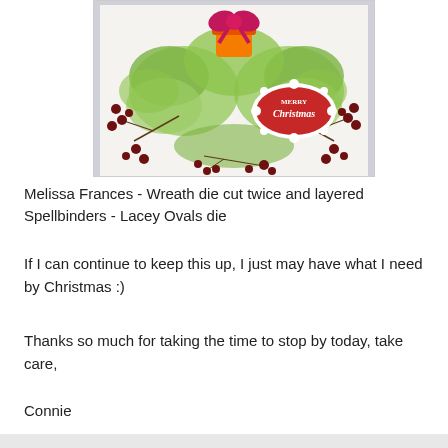[Figure (photo): A handmade Christmas greeting card featuring a decorative wreath made of green leafy branches and dark red berries on branches, with an orange pot or vase at the top adorned with a bright pink/magenta bow, and a red oval 'Merry Christmas' label/tag on the front. The card background appears to be light grey/white textured paper.]
Melissa Frances - Wreath die cut twice and layered
Spellbinders - Lacey Ovals die
If I can continue to keep this up, I just may have what I need by Christmas :)
Thanks so much for taking the time to stop by today, take care,
Connie